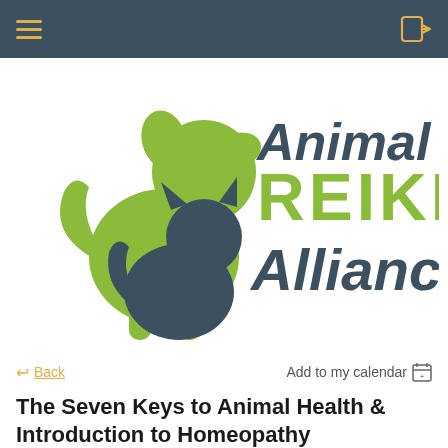Navigation bar with hamburger menu and login icon
[Figure (logo): Animal Reiki Alliance logo featuring a green dog silhouette and dark teal cat silhouette with stylized text reading 'Animal REIKI Alliance']
← Back    Add to my calendar 📅
The Seven Keys to Animal Health & Introduction to Homeopathy